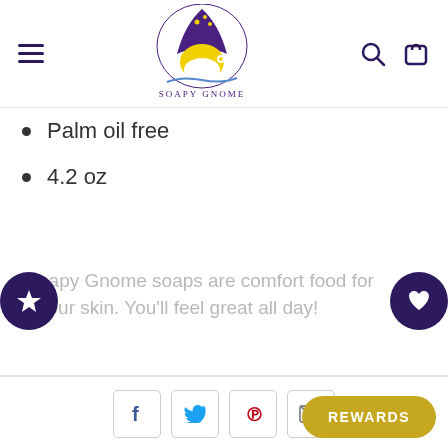[Figure (logo): Soapy Gnome logo — purple gnome hat with yellow gnome face inside a crescent, text 'Soapy Gnome' below]
Palm oil free
4.2 oz
Soapy Gnome soaps are comfort food for your skin. You'll feel great all day!
[Figure (infographic): Social sharing icons row: Facebook (f), Twitter bird, Pinterest (p), Email envelope]
REWARDS